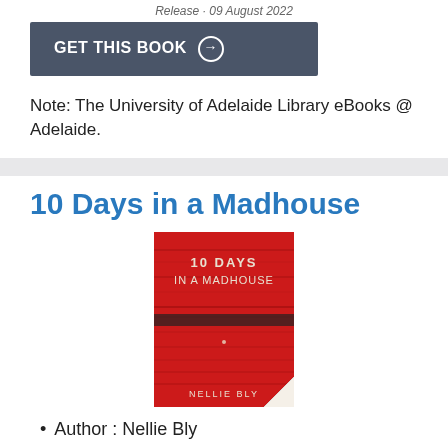Release · 09 August 2022
[Figure (other): GET THIS BOOK button with arrow icon]
Note: The University of Adelaide Library eBooks @ Adelaide.
10 Days in a Madhouse
[Figure (photo): Book cover of '10 Days in a Madhouse' by Nellie Bly — red wood-textured background with white title text]
Author : Nellie Bly